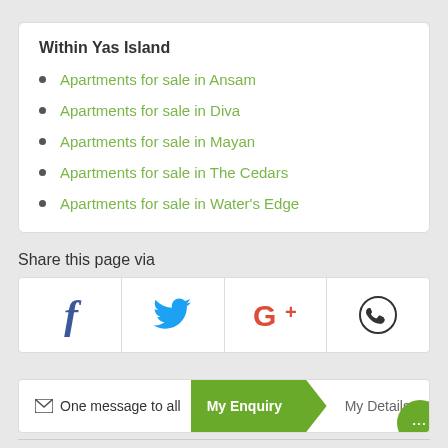Within Yas Island
Apartments for sale in Ansam
Apartments for sale in Diva
Apartments for sale in Mayan
Apartments for sale in The Cedars
Apartments for sale in Water's Edge
Share this page via
[Figure (infographic): Social sharing buttons row: Facebook, Twitter, Google+, WhatsApp]
✉ One message to all   My Enquiry   My Details   M